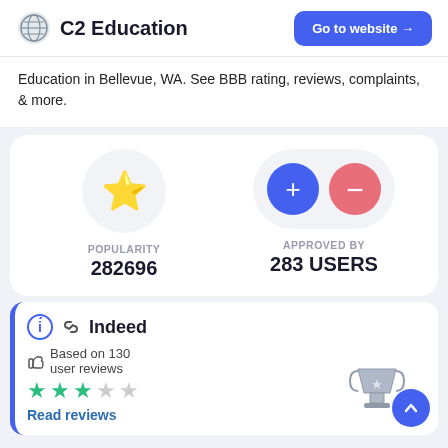C2 Education  Go to website →
Education in Bellevue, WA. See BBB rating, reviews, complaints, & more.
[Figure (infographic): Popularity stat: star icon, label POPULARITY, value 282696. Approved By stat: plus and minus circle icons, label APPROVED BY, value 283 USERS.]
[Figure (infographic): Indeed source card with info icon and link icon, Indeed title, Based on 130 user reviews, 3 out of 5 green stars, Read reviews link, trophy graphic with up arrow button.]